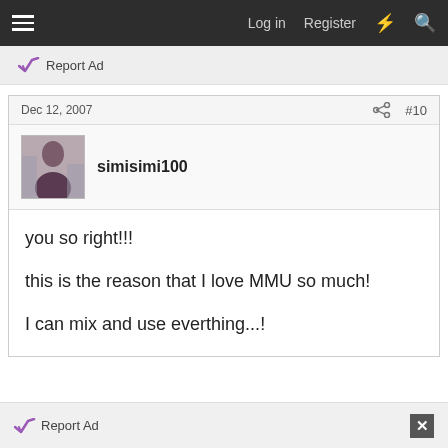Log in  Register
Report Ad
Dec 12, 2007   #10
simisimi100
you so right!!!

this is the reason that I love MMU so much!

I can mix and use everthing...!
Report Ad